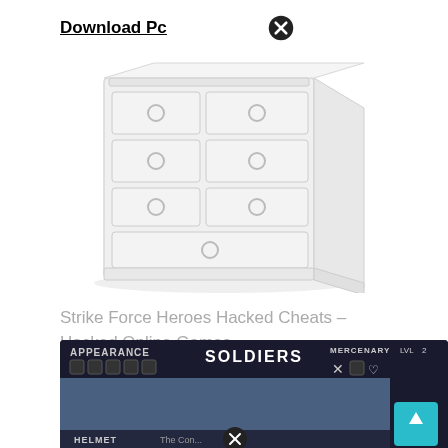Download Pc
[Figure (illustration): A white dresser/chest of drawers rendered in 3D, showing multiple drawers with circular handles, viewed in perspective angle. The image is light/faded with a white background.]
Strike Force Heroes Hacked Cheats – Hacked Online Games
[Figure (screenshot): Screenshot of a game interface showing 'SOLDIERS' in the center, 'APPEARANCE' on the left with icons, 'MERCENARY LVL 2' on the right. A game character customization screen with HELMET and 'The Con...' visible. A teal scroll-to-top button in the bottom right.]